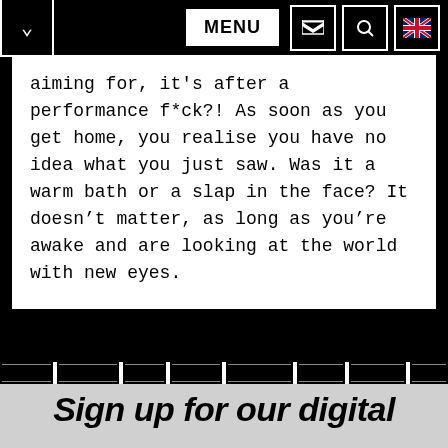[Figure (screenshot): Website navigation bar with chevron dropdown, MENU button, email icon, search icon, and UK flag icon on black background]
aiming for, it's after a performance f*ck?! As soon as you get home, you realise you have no idea what you just saw. Was it a warm bath or a slap in the face? It doesn't matter, as long as you're awake and are looking at the world with new eyes.
Sign up for our digital
We have Cookies!
More information
ACCEPT